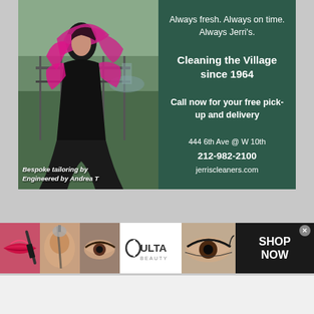[Figure (photo): Advertisement for Jerri's Cleaners. Left side shows a fashion photo of a woman in a black gown with pink/magenta wrap, outdoor setting. Caption reads: Bespoke tailoring by Engineered by Andrea T. Right side is dark green with white text advertising the dry cleaning service.]
Always fresh. Always on time. Always Jerri's.
Cleaning the Village since 1964
Call now for your free pick-up and delivery
444 6th Ave @ W 10th
212-982-2100
jerriscleaners.com
[Figure (photo): Ulta Beauty advertisement banner. Shows four makeup close-up photos (lips, face brush, eye makeup, eye detail), Ulta Beauty logo on white background, and a SHOP NOW button on dark background. Close button (x) in top right corner.]